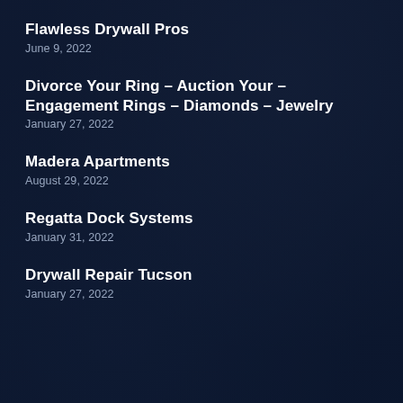Flawless Drywall Pros
June 9, 2022
Divorce Your Ring – Auction Your – Engagement Rings – Diamonds – Jewelry
January 27, 2022
Madera Apartments
August 29, 2022
Regatta Dock Systems
January 31, 2022
Drywall Repair Tucson
January 27, 2022